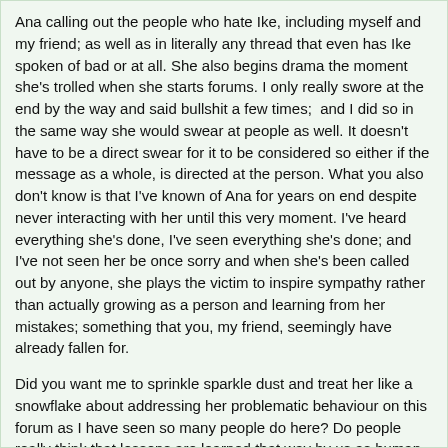Ana calling out the people who hate Ike, including myself and my friend; as well as in literally any thread that even has Ike spoken of bad or at all. She also begins drama the moment she's trolled when she starts forums. I only really swore at the end by the way and said bullshit a few times;  and I did so in the same way she would swear at people as well. It doesn't have to be a direct swear for it to be considered so either if the message as a whole, is directed at the person. What you also don't know is that I've known of Ana for years on end despite never interacting with her until this very moment. I've heard everything she's done, I've seen everything she's done; and I've not seen her be once sorry and when she's been called out by anyone, she plays the victim to inspire sympathy rather than actually growing as a person and learning from her mistakes; something that you, my friend, seemingly have already fallen for.
Did you want me to sprinkle sparkle dust and treat her like a snowflake about addressing her problematic behaviour on this forum as I have seen so many people do here? Do people really think that lessons are learned that way by us as human beings? Have YOU ever learned a lesson about yourself in the softest way possible?
I also never rubbed in that she can't have a social life. All I did was call...